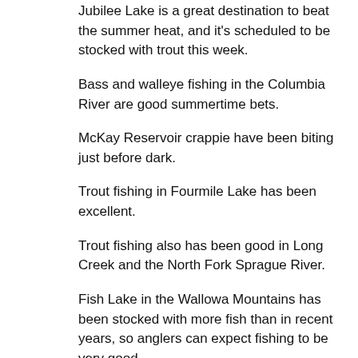Jubilee Lake is a great destination to beat the summer heat, and it's scheduled to be stocked with trout this week.
Bass and walleye fishing in the Columbia River are good summertime bets.
McKay Reservoir crappie have been biting just before dark.
Trout fishing in Fourmile Lake has been excellent.
Trout fishing also has been good in Long Creek and the North Fork Sprague River.
Fish Lake in the Wallowa Mountains has been stocked with more fish than in recent years, so anglers can expect fishing to be very good.
Phillips Reservoir has been stocked with approximately 14,000 legal-size and 4,500 trophy-size rainbow trout this year. ‘Nuf said.
The trail to Blue Lake in the Gearhart Wilderness is open